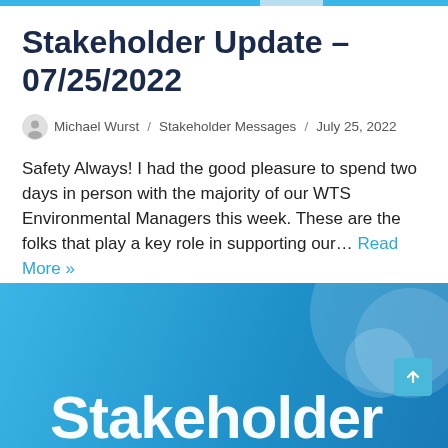Stakeholder Update – 07/25/2022
Michael Wurst / Stakeholder Messages / July 25, 2022
Safety Always! I had the good pleasure to spend two days in person with the majority of our WTS Environmental Managers this week. These are the folks that play a key role in supporting our… Read More »
[Figure (illustration): Blue gradient banner with decorative circular shapes and 'Stakeholder' text overlay in white, partially visible at bottom of page]